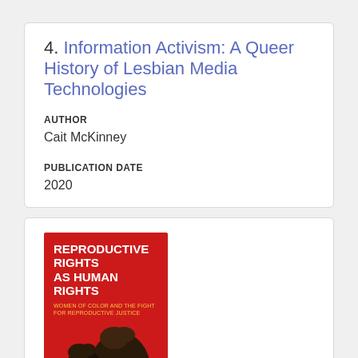4. Information Activism: A Queer History of Lesbian Media Technologies
AUTHOR
Cait McKinney
PUBLICATION DATE
2020
[Figure (illustration): Book cover of 'Reproductive Rights as Human Rights: Women of Color and the Fight for Reproductive Justice'. Red background with bold white title text and silhouette of a person's head/profile.]